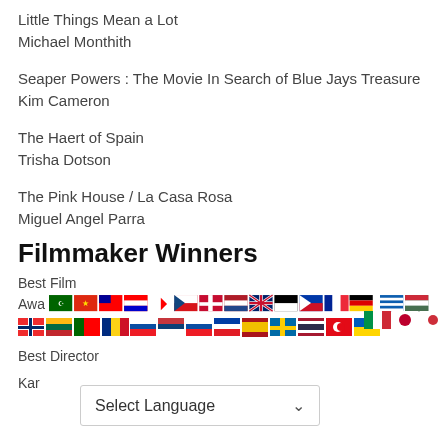Little Things Mean a Lot
Michael Monthith
Seaper Powers : The Movie In Search of Blue Jays Treasure
Kim Cameron
The Haert of Spain
Trisha Dotson
The Pink House / La Casa Rosa
Miguel Angel Parra
Filmmaker Winners
Best Film
Awa[rds] [flags row 1]
[Figure (other): Row of country flags spanning the page width]
[Figure (other): Second row of country flags]
Best Director
Kar[en...] Select Language dropdown overlay